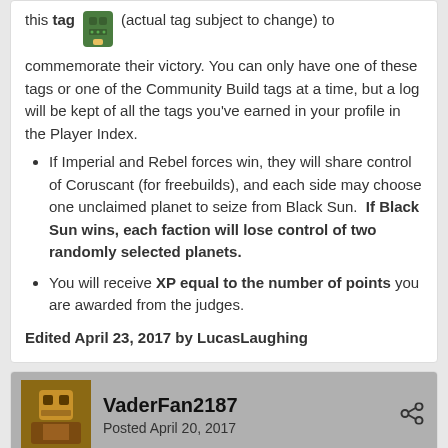this tag (actual tag subject to change) to commemorate their victory. You can only have one of these tags or one of the Community Build tags at a time, but a log will be kept of all the tags you've earned in your profile in the Player Index.
If Imperial and Rebel forces win, they will share control of Coruscant (for freebuilds), and each side may choose one unclaimed planet to seize from Black Sun. If Black Sun wins, each faction will lose control of two randomly selected planets.
You will receive XP equal to the number of points you are awarded from the judges.
Edited April 23, 2017 by LucasLaughing
VaderFan2187
Posted April 20, 2017
HYPE!! Let me find a way to fit my pre-made build in...
Btw, what is the Skyhook?